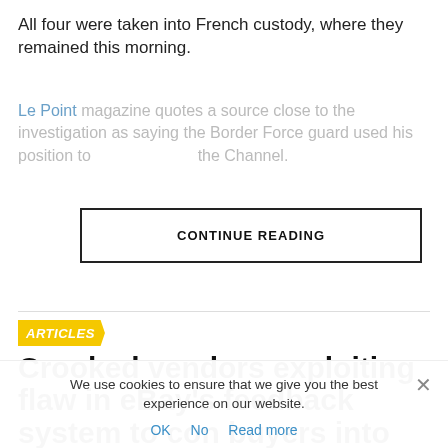All four were taken into French custody, where they remained this morning.
Le Point magazine quotes a source close to the investigation as saying the Border Force guard used his position to the Channel.
CONTINUE READING
[Figure (other): Horizontal divider line separating article sections]
ARTICLES
Crooked vendors exploiting flaw in eBay's feedback system to con buyers into purchasing bogus and
We use cookies to ensure that we give you the best experience on our website.
OK   No   Read more